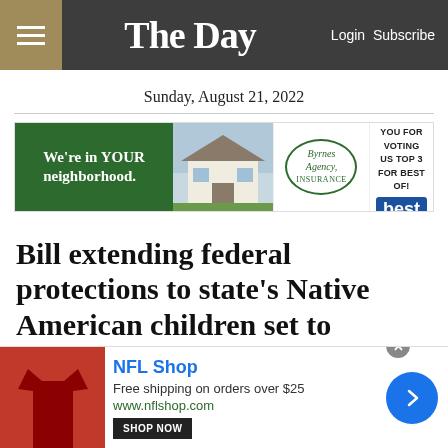The Day — Login Subscribe
Sunday, August 21, 2022
[Figure (other): Advertisement banner: Byrnes Agency Insurance — We're in YOUR neighborhood. THANK YOU FOR VOTING US TOP 3 FOR BEST OF!]
Bill extending federal protections to state's Native American children set to become law
[Figure (other): NFL Shop advertisement — Free shipping on orders over $25. www.nflshop.com. SHOP NOW button.]